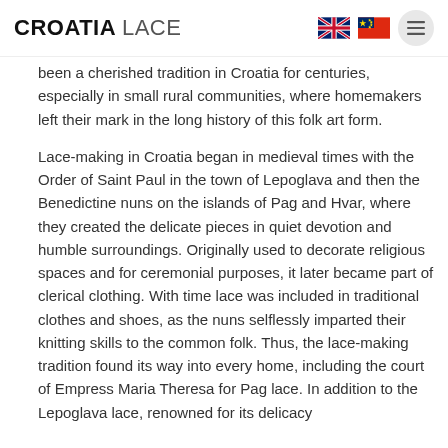CROATIA LACE
been a cherished tradition in Croatia for centuries, especially in small rural communities, where homemakers left their mark in the long history of this folk art form.
Lace-making in Croatia began in medieval times with the Order of Saint Paul in the town of Lepoglava and then the Benedictine nuns on the islands of Pag and Hvar, where they created the delicate pieces in quiet devotion and humble surroundings. Originally used to decorate religious spaces and for ceremonial purposes, it later became part of clerical clothing. With time lace was included in traditional clothes and shoes, as the nuns selflessly imparted their knitting skills to the common folk. Thus, the lace-making tradition found its way into every home, including the court of Empress Maria Theresa for Pag lace. In addition to the Lepoglava lace, renowned for its delicacy